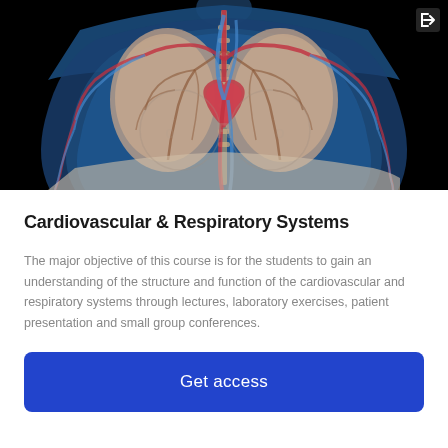[Figure (illustration): 3D medical illustration of human cardiovascular and respiratory systems showing the heart, lungs, and blood vessels (red arteries and blue veins) visible through a translucent blue human torso on a black background. A watermark logo is visible in the center of the image. A login/arrow icon appears in the top right corner.]
Cardiovascular & Respiratory Systems
The major objective of this course is for the students to gain an understanding of the structure and function of the cardiovascular and respiratory systems through lectures, laboratory exercises, patient presentation and small group conferences.
Get access